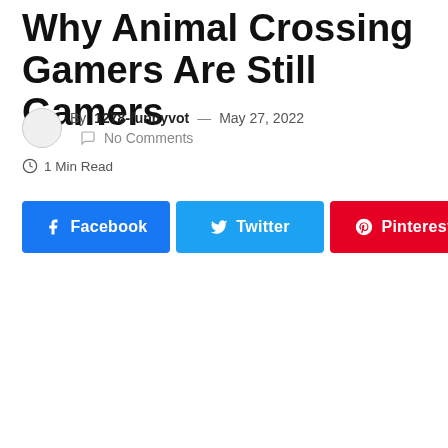Why Animal Crossing Gamers Are Still Gamers
By 1278-funnyvot — May 27, 2022  No Comments
1 Min Read
Facebook  Twitter  Pinterest